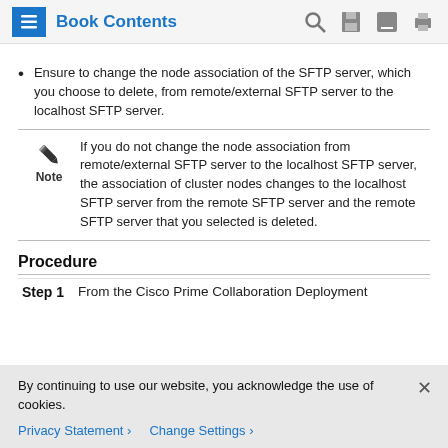Book Contents
Ensure to change the node association of the SFTP server, which you choose to delete, from remote/external SFTP server to the localhost SFTP server.
Note: If you do not change the node association from remote/external SFTP server to the localhost SFTP server, the association of cluster nodes changes to the localhost SFTP server from the remote SFTP server and the remote SFTP server that you selected is deleted.
Procedure
Step 1   From the Cisco Prime Collaboration Deployment
By continuing to use our website, you acknowledge the use of cookies.
Privacy Statement >   Change Settings >